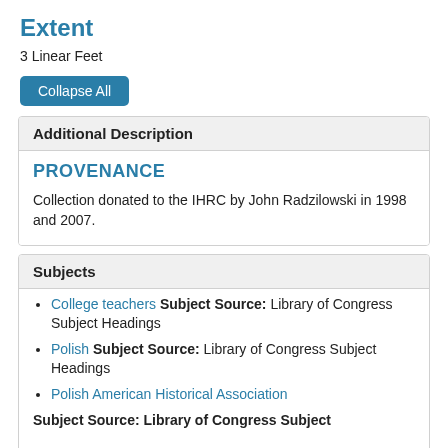Extent
3 Linear Feet
Collapse All
Additional Description
PROVENANCE
Collection donated to the IHRC by John Radzilowski in 1998 and 2007.
Subjects
College teachers Subject Source: Library of Congress Subject Headings
Polish Subject Source: Library of Congress Subject Headings
Polish American Historical Association
Subject Source: Library of Congress Subject